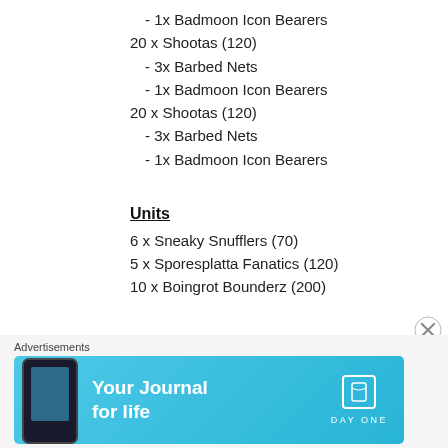- 1x Badmoon Icon Bearers
20 x Shootas (120)
- 3x Barbed Nets
- 1x Badmoon Icon Bearers
20 x Shootas (120)
- 3x Barbed Nets
- 1x Badmoon Icon Bearers
Units
6 x Sneaky Snufflers (70)
5 x Sporesplatta Fanatics (120)
10 x Boingrot Bounderz (200)
Endless Spells / Terrain / CPs
Scuttletide (30)
Scrapskuttle's Arachnacauldron (40)
Extra Command Point (50)
Advertisements